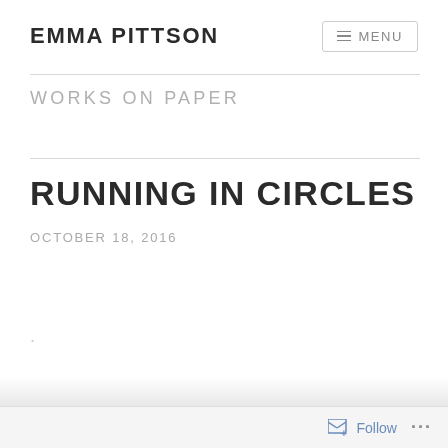EMMA PITTSON
WORKS ON PAPER
RUNNING IN CIRCLES
OCTOBER 18, 2016
.
Follow